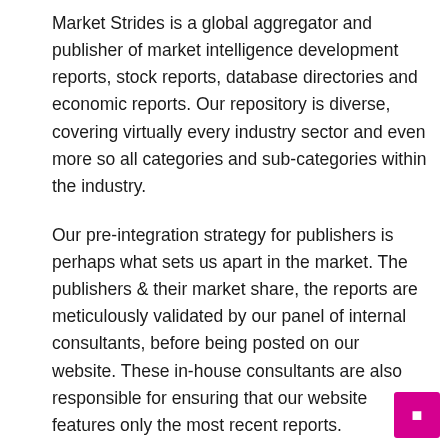Market Strides is a global aggregator and publisher of market intelligence development reports, stock reports, database directories and economic reports. Our repository is diverse, covering virtually every industry sector and even more so all categories and sub-categories within the industry.
Our pre-integration strategy for publishers is perhaps what sets us apart in the market. The publishers & their market share, the reports are meticulously validated by our panel of internal consultants, before being posted on our website. These in-house consultants are also responsible for ensuring that our website features only the most recent reports.